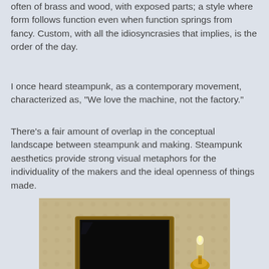often of brass and wood, with exposed parts; a style where form follows function even when function springs from fancy. Custom, with all the idiosyncrasies that implies, is the order of the day.
I once heard steampunk, as a contemporary movement, characterized as, "We love the machine, not the factory."
There's a fair amount of overlap in the conceptual landscape between steampunk and making. Steampunk aesthetics provide strong visual metaphors for the individuality of the makers and the ideal openness of things made.
[Figure (photo): A steampunk-style laptop computer in a wooden case with a black screen, sitting on a desk beside a brass oil lamp and a small black device, with a typewriter-style keyboard at the bottom, all on a warm wooden surface with a decorative wallpaper background.]